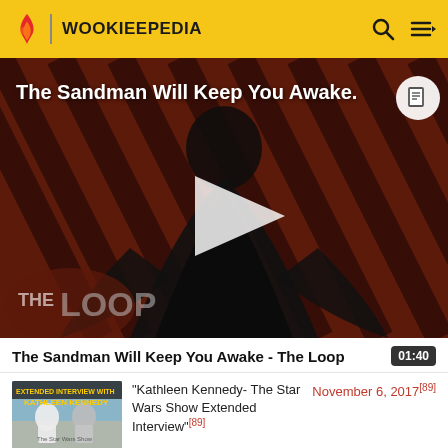WOOKIEEPEDIA
[Figure (screenshot): Video thumbnail for 'The Sandman Will Keep You Awake - The Loop' showing a dark-cloaked figure against a red striped background with THE LOOP logo and a play button overlay]
The Sandman Will Keep You Awake - The Loop  01:40
[Figure (screenshot): Thumbnail of Kathleen Kennedy extended interview on The Star Wars Show]
"Kathleen Kennedy- The Star Wars Show Extended Interview"[89]
November 6, 2017[89]